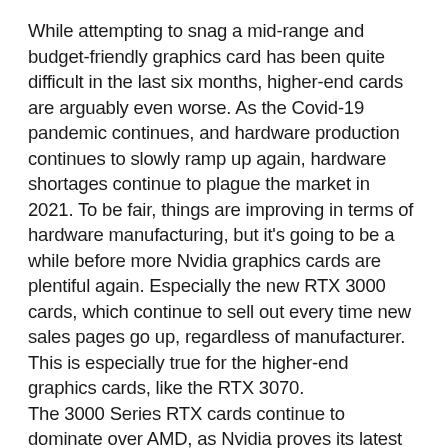While attempting to snag a mid-range and budget-friendly graphics card has been quite difficult in the last six months, higher-end cards are arguably even worse. As the Covid-19 pandemic continues, and hardware production continues to slowly ramp up again, hardware shortages continue to plague the market in 2021. To be fair, things are improving in terms of hardware manufacturing, but it's going to be a while before more Nvidia graphics cards are plentiful again. Especially the new RTX 3000 cards, which continue to sell out every time new sales pages go up, regardless of manufacturer. This is especially true for the higher-end graphics cards, like the RTX 3070.
The 3000 Series RTX cards continue to dominate over AMD, as Nvidia proves its latest lineup really is the highest standard for graphics cards. Recent tests of the RTX 3080 against AMD's RX 6800 XT show the card is even a significant upgrade over AMD's latest